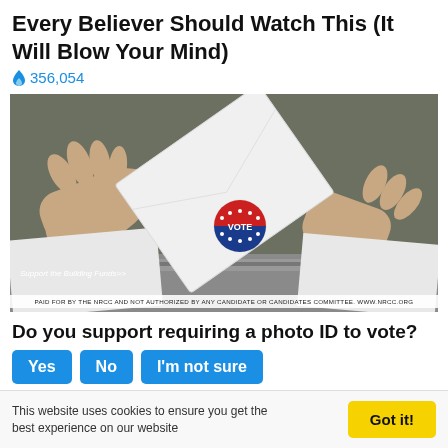Every Believer Should Watch This (It Will Blow Your Mind)
🔥 356,054
[Figure (photo): Person in white shirt inserting a ballot envelope with a red/white/blue VOTE sticker into a ballot box. Overlay text: 'Support the Building Funds' and disclaimer: 'PAID FOR BY THE NRCC AND NOT AUTHORIZED BY ANY CANDIDATE OR CANDIDATES COMMITTEE. WWW.NRCC.ORG']
Do you support requiring a photo ID to vote?
Yes | No | I'm not sure
This website uses cookies to ensure you get the best experience on our website